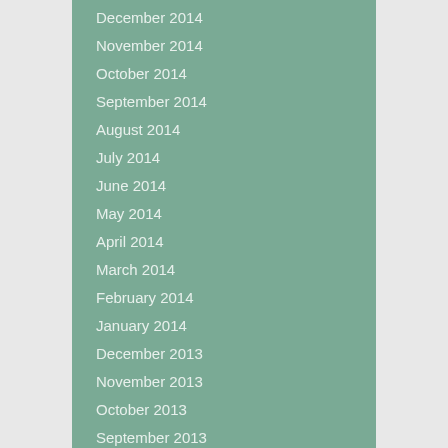December 2014
November 2014
October 2014
September 2014
August 2014
July 2014
June 2014
May 2014
April 2014
March 2014
February 2014
January 2014
December 2013
November 2013
October 2013
September 2013
August 2013
July 2013
June 2013
May 2013